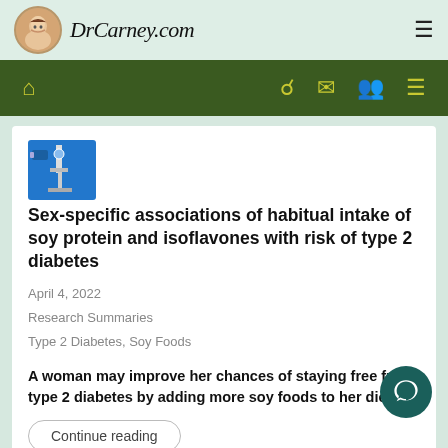DrCarney.com
[Figure (screenshot): Navigation bar with home, search, mail, user, and menu icons on dark green background]
[Figure (photo): Small thumbnail image of a microscope or scientific equipment on blue background]
Sex-specific associations of habitual intake of soy protein and isoflavones with risk of type 2 diabetes
April 4, 2022
Research Summaries
Type 2 Diabetes, Soy Foods
A woman may improve her chances of staying free from type 2 diabetes by adding more soy foods to her diet.
Continue reading